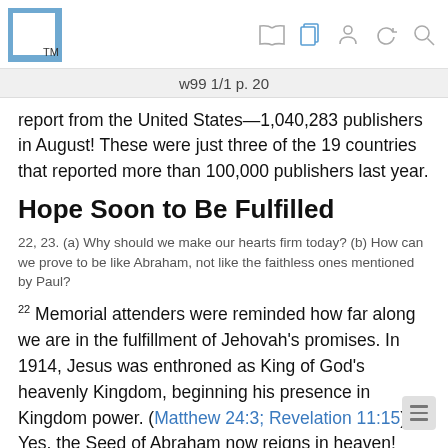w99 1/1 p. 20
report from the United States—1,040,283 publishers in August! These were just three of the 19 countries that reported more than 100,000 publishers last year.
Hope Soon to Be Fulfilled
22, 23. (a) Why should we make our hearts firm today? (b) How can we prove to be like Abraham, not like the faithless ones mentioned by Paul?
22 Memorial attenders were reminded how far along we are in the fulfillment of Jehovah's promises. In 1914, Jesus was enthroned as King of God's heavenly Kingdom, beginning his presence in Kingdom power. (Matthew 24:3; Revelation 11:15) Yes, the Seed of Abraham now reigns in heaven! James said to